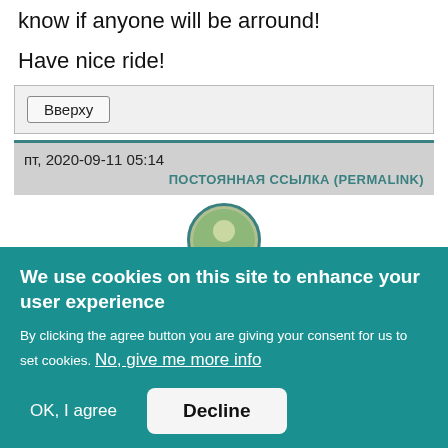know if anyone will be arround!
Have nice ride!
Вверху
пт, 2020-09-11 05:14
ПОСТОЯННАЯ ССЫЛКА (PERMALINK)
[Figure (photo): Avatar/profile picture circle with teal border]
We use cookies on this site to enhance your user experience
By clicking the agree button you are giving your consent for us to set cookies. No, give me more info
OK, I agree
Decline